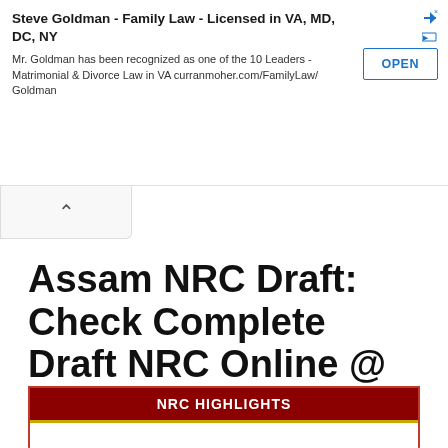[Figure (other): Advertisement banner: Steve Goldman - Family Law - Licensed in VA, MD, DC, NY. Mr. Goldman has been recognized as one of the 10 Leaders - Matrimonial & Divorce Law in VA curranmoher.com/FamilyLaw/Goldman. With an OPEN button.]
Assam NRC Draft: Check Complete Draft NRC Online @ assamnrcdraft.com
January 30, 2019 by admin
NRC HIGHLIGHTS